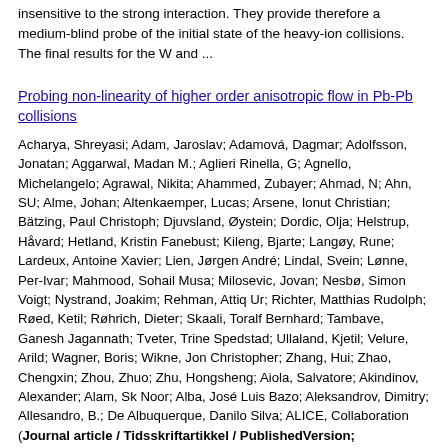insensitive to the strong interaction. They provide therefore a medium-blind probe of the initial state of the heavy-ion collisions. The final results for the W and ...
Probing non-linearity of higher order anisotropic flow in Pb-Pb collisions
Acharya, Shreyasi; Adam, Jaroslav; Adamová, Dagmar; Adolfsson, Jonatan; Aggarwal, Madan M.; Aglieri Rinella, G; Agnello, Michelangelo; Agrawal, Nikita; Ahammed, Zubayer; Ahmad, N; Ahn, SU; Alme, Johan; Altenkaemper, Lucas; Arsene, Ionut Christian; Bätzing, Paul Christoph; Djuvsland, Øystein; Dordic, Olja; Helstrup, Håvard; Hetland, Kristin Fanebust; Kileng, Bjarte; Langøy, Rune; Lardeux, Antoine Xavier; Lien, Jørgen André; Lindal, Svein; Lønne, Per-Ivar; Mahmood, Sohail Musa; Milosevic, Jovan; Nesbø, Simon Voigt; Nystrand, Joakim; Rehman, Attiq Ur; Richter, Matthias Rudolph; Røed, Ketil; Røhrich, Dieter; Skaali, Toralf Bernhard; Tambave, Ganesh Jagannath; Tveter, Trine Spedstad; Ullaland, Kjetil; Velure, Arild; Wagner, Boris; Wikne, Jon Christopher; Zhang, Hui; Zhao, Chengxin; Zhou, Zhuo; Zhu, Hongsheng; Aiola, Salvatore; Akindinov, Alexander; Alam, Sk Noor; Alba, José Luis Bazo; Aleksandrov, Dimitry; Allesandro, B.; De Albuquerque, Danilo Silva; ALICE, Collaboration (Journal article / Tidsskriftartikkel / PublishedVersion;